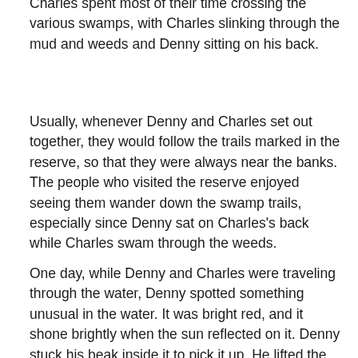Charles spent most of their time crossing the various swamps, with Charles slinking through the mud and weeds and Denny sitting on his back.
Usually, whenever Denny and Charles set out together, they would follow the trails marked in the reserve, so that they were always near the banks. The people who visited the reserve enjoyed seeing them wander down the swamp trails, especially since Denny sat on Charles's back while Charles swam through the weeds.
One day, while Denny and Charles were traveling through the water, Denny spotted something unusual in the water. It was bright red, and it shone brightly when the sun reflected on it. Denny stuck his beak inside it to pick it up. He lifted the can and placed it onto Charles's back. Denny wasn't quite sure what it was, and Charles couldn't see it